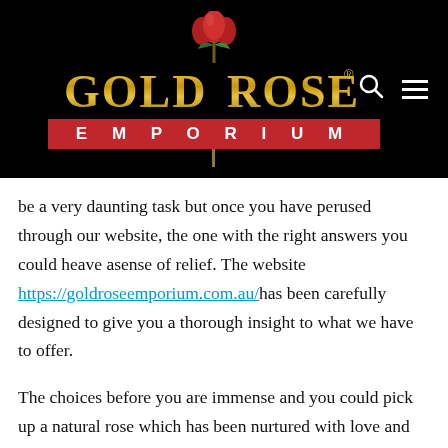[Figure (logo): Gold Rose Emporium logo on black background with golden text, red tulip at top, green leaf, and red EMPORIUM banner below. Search and hamburger menu icons on the right.]
be a very daunting task but once you have perused through our website, the one with the right answers you could heave asense of relief. The website https://goldroseemporium.com.au/ has been carefully designed to give you a thorough insight to what we have to offer.
The choices before you are immense and you could pick up a natural rose which has been nurtured with love and brought to you with a load of promises to make your life that much more beautiful. Your loved